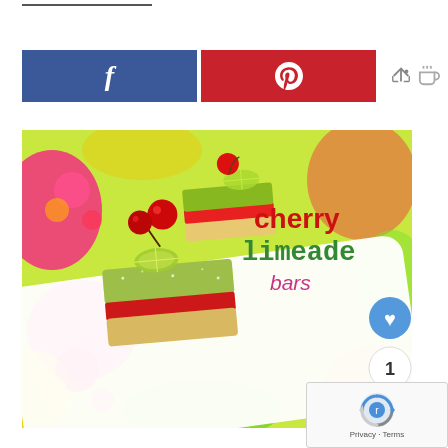[Figure (other): Social share bar with Facebook (blue) and Pinterest (red) buttons, and a share count showing 0 SHARES with an arrow icon]
[Figure (photo): Photo of cherry limeade bars on a white plate with colorful floral background. Bars are green layered with red, topped with cherries and lime slices. Text overlay reads 'cherry limeade bars'. Heart button (1), and share button overlaid on right side.]
[Figure (other): Google reCAPTCHA widget showing the reCAPTCHA logo with Privacy and Terms links]